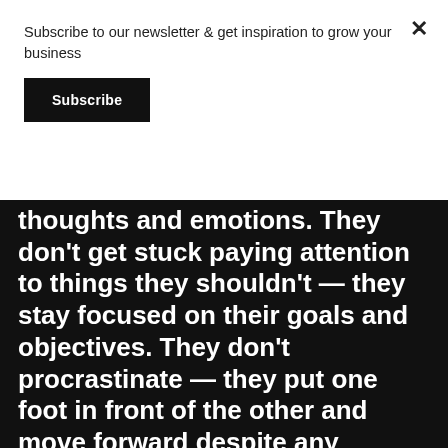Subscribe to our newsletter & get inspiration to grow your business
Subscribe
thoughts and emotions. They don't get stuck paying attention to things they shouldn't — they stay focused on their goals and objectives. They don't procrastinate — they put one foot in front of the other and move forward despite any distractions that might be thrown at them. And lastly,